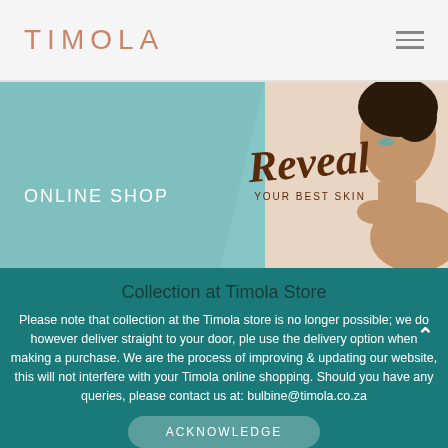TIMOLA
[Figure (illustration): Banner with teal diagonal parallelogram on left with 'ONLINE SHOP' text, and a woman's portrait on right with 'Reveal YOUR BEST SKIN' script text overlay]
Collection at Timola Store
Please note that collection at the Timola store is no longer possible; we do however deliver straight to your door, ple use the delivery option when making a purchase. We are the process of improving & updating our website, this will not interfere with your Timola online shopping. Should you have any queries, please contact us at: bulbine@timola.co.za
ACKNOWLEDGE